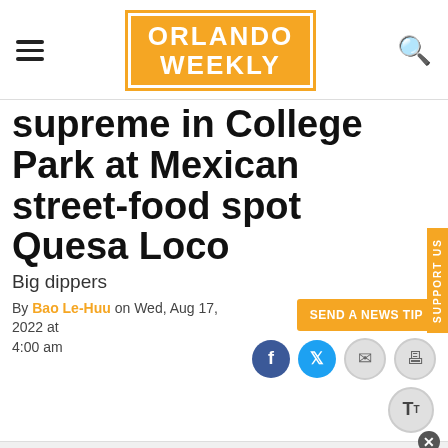[Figure (logo): Orlando Weekly logo — orange rectangle with white bold text reading ORLANDO WEEKLY]
supreme in College Park at Mexican street-food spot Quesa Loco
Big dippers
By Bao Le-Huu on Wed, Aug 17, 2022 at 4:00 am
[Figure (screenshot): SEND A NEWS TIP button and social sharing icons (Facebook, Twitter, email, print) and text resize button]